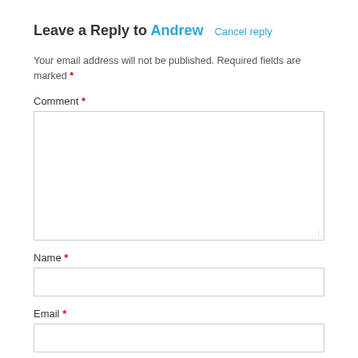Leave a Reply to Andrew   Cancel reply
Your email address will not be published. Required fields are marked *
Comment *
Name *
Email *